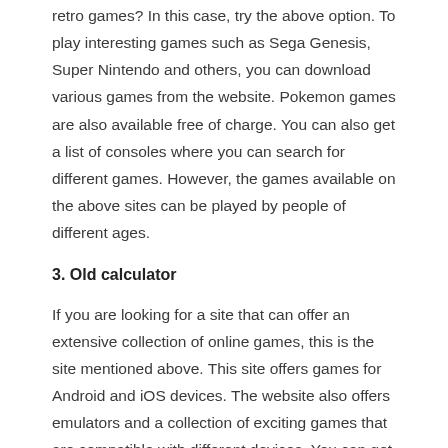retro games? In this case, try the above option. To play interesting games such as Sega Genesis, Super Nintendo and others, you can download various games from the website. Pokemon games are also available free of charge. You can also get a list of consoles where you can search for different games. However, the games available on the above sites can be played by people of different ages.
3. Old calculator
If you are looking for a site that can offer an extensive collection of online games, this is the site mentioned above. This site offers games for Android and iOS devices. The website also offers emulators and a collection of exciting games that are compatible with different devices. You can get ROMs for the games with additional features to discuss how to download and play the games on the site. It functions as an online gambling forum.
Discover the best slow motion games for Android.